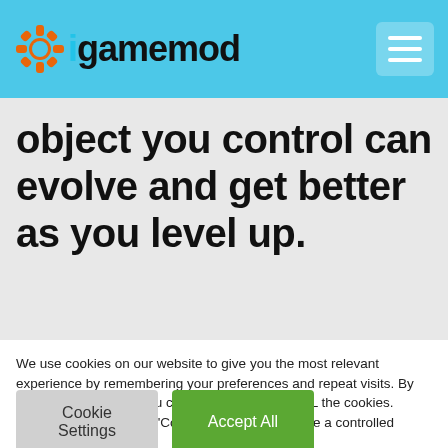igamemod
object you control can evolve and get better as you level up.
We use cookies on our website to give you the most relevant experience by remembering your preferences and repeat visits. By clicking "Accept All", you consent to the use of ALL the cookies. However, you may visit 'Cookie Settings' to provide a controlled consent.